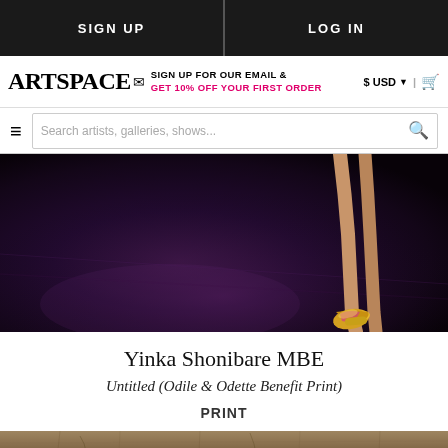SIGN UP | LOG IN
ARTSPACE — SIGN UP FOR OUR EMAIL & GET 10% OFF YOUR FIRST ORDER — $ USD | cart
Search artists, galleries, shows...
[Figure (photo): Dark stage floor with a dancer's legs visible, wearing colorful ballet shoes/pointe shoes with yellow and pink accents, against a dark reflective floor background.]
Yinka Shonibare MBE
Untitled (Odile & Odette Benefit Print)
PRINT
[Figure (photo): Partial view of another artwork thumbnail at the bottom of the page.]